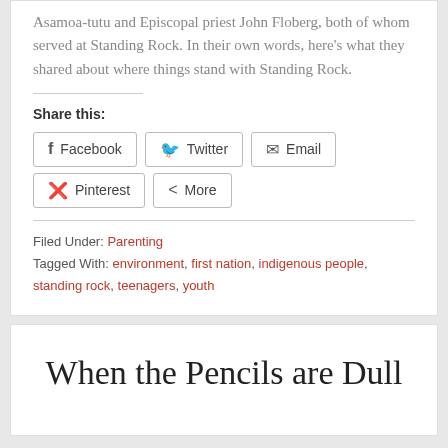Asamoa-tutu and Episcopal priest John Floberg, both of whom served at Standing Rock. In their own words, here's what they shared about where things stand with Standing Rock.
Share this:
Facebook  Twitter  Email  Pinterest  More
Filed Under: Parenting
Tagged With: environment, first nation, indigenous people, standing rock, teenagers, youth
When the Pencils are Dull